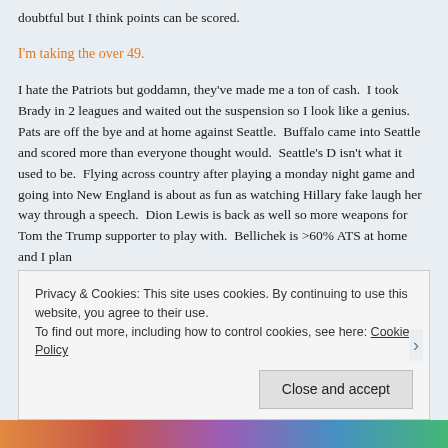doubtful but I think points can be scored.
I'm taking the over 49.
I hate the Patriots but goddamn, they've made me a ton of cash.  I took Brady in 2 leagues and waited out the suspension so I look like a genius.  Pats are off the bye and at home against Seattle.  Buffalo came into Seattle and scored more than everyone thought would.  Seattle's D isn't what it used to be.  Flying across country after playing a monday night game and going into New England is about as fun as watching Hillary fake laugh her way through a speech.  Dion Lewis is back as well so more weapons for Tom the Trump supporter to play with.  Bellichek is >60% ATS at home and I plan
Privacy & Cookies: This site uses cookies. By continuing to use this website, you agree to their use.
To find out more, including how to control cookies, see here: Cookie Policy
Close and accept